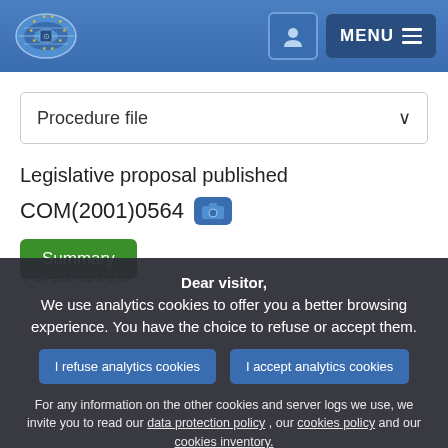European Parliament header with logo and MENU button
Procedure file
Legislative proposal published
COM(2001)0564
Summary
Dear visitor, We use analytics cookies to offer you a better browsing experience. You have the choice to refuse or accept them.
I refuse analytics cookies
I accept analytics cookies
For any information on the other cookies and server logs we use, we invite you to read our data protection policy , our cookies policy and our cookies inventory.